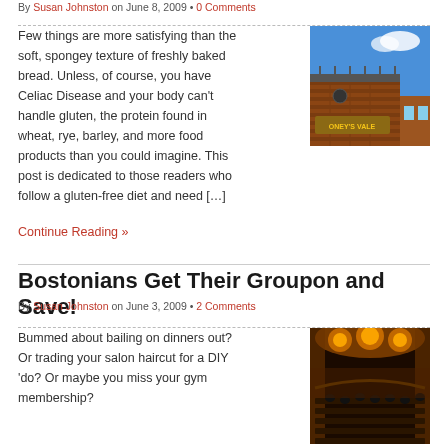By Susan Johnston on June 8, 2009 • 0 Comments
Few things are more satisfying than the soft, spongey texture of freshly baked bread. Unless, of course, you have Celiac Disease and your body can't handle gluten, the protein found in wheat, rye, barley, and more food products than you could imagine. This post is dedicated to those readers who follow a gluten-free diet and need […]
[Figure (photo): Photo of a brick building exterior with a sign, blue sky in background]
Continue Reading »
Bostonians Get Their Groupon and Save!
By Susan Johnston on June 3, 2009 • 2 Comments
Bummed about bailing on dinners out? Or trading your salon haircut for a DIY 'do? Or maybe you miss your gym membership? Well, here's a trick Bostonians...
[Figure (photo): Photo of a theater interior with warm orange lighting and audience seating]